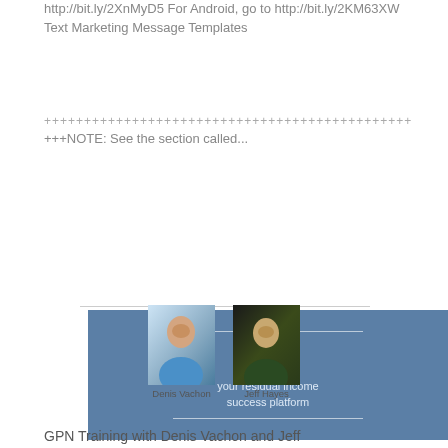http://bit.ly/2XnMyD5 For Android, go to http://bit.ly/2KM63XW Text Marketing Message Templates
++++++++++++++++++++++++++++++++++++++++++++++
+++NOTE: See the section called...
[Figure (logo): GPN logo banner with blue background showing 'gpn' in large white bold text, horizontal lines above and below, and text 'your residual income success platform']
[Figure (photo): Two headshot photos side by side: Denis Vachon (man in blue shirt) and Jeff Hayes (man in dark shirt)]
GPN Training with Denis Vachon and Jeff